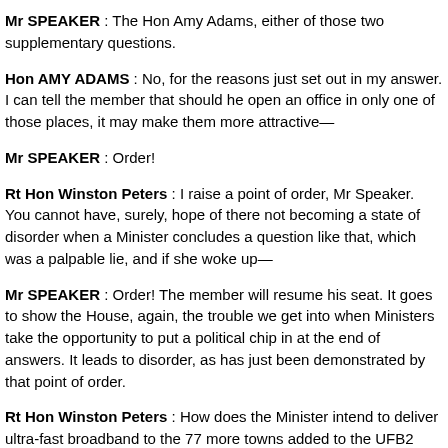Mr SPEAKER : The Hon Amy Adams, either of those two supplementary questions.
Hon AMY ADAMS : No, for the reasons just set out in my answer. I can tell the member that should he open an office in only one of those places, it may make them more attractive—
Mr SPEAKER : Order!
Rt Hon Winston Peters : I raise a point of order, Mr Speaker. You cannot have, surely, hope of there not becoming a state of disorder when a Minister concludes a question like that, which was a palpable lie, and if she woke up—
Mr SPEAKER : Order! The member will resume his seat. It goes to show the House, again, the trouble we get into when Ministers take the opportunity to put a political chip in at the end of answers. It leads to disorder, as has just been demonstrated by that point of order.
Rt Hon Winston Peters : How does the Minister intend to deliver ultra-fast broadband to the 77 more towns added to the UFB2 when